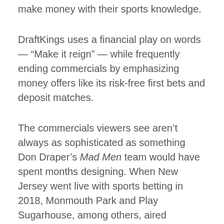make money with their sports knowledge.
DraftKings uses a financial play on words — “Make it reign” — while frequently ending commercials by emphasizing money offers like its risk-free first bets and deposit matches.
The commercials viewers see aren’t always as sophisticated as something Don Draper’s Mad Men team would have spent months designing. When New Jersey went live with sports betting in 2018, Monmouth Park and Play Sugarhouse, among others, aired straightforward images and narration simply emphasizing the existence of the new option.
As Iowa began allowing wagers, William Hill presented a TV ad showing an array of pre-game preparations in